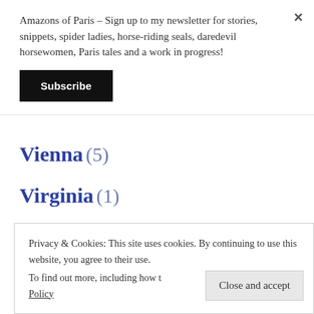Amazons of Paris – Sign up to my newsletter for stories, snippets, spider ladies, horse-riding seals, daredevil horsewomen, Paris tales and a work in progress!
Subscribe
Vienna (5)
Virginia (1)
Walers (2)
Privacy & Cookies: This site uses cookies. By continuing to use this website, you agree to their use. To find out more, including how to control cookies, see here: Cookie Policy
Close and accept